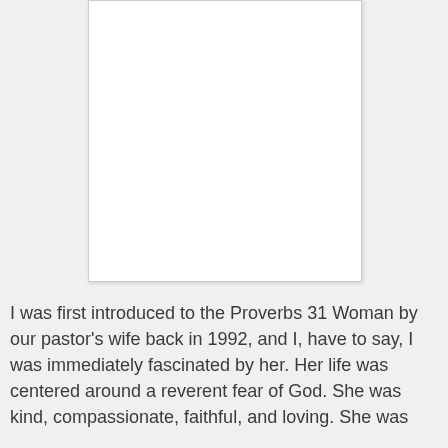[Figure (photo): A blank white rectangular image placeholder with a light border and shadow, occupying the upper portion of the page.]
I was first introduced to the Proverbs 31 Woman by our pastor's wife back in 1992, and I, have to say, I was immediately fascinated by her. Her life was centered around a reverent fear of God. She was kind, compassionate, faithful, and loving. She was